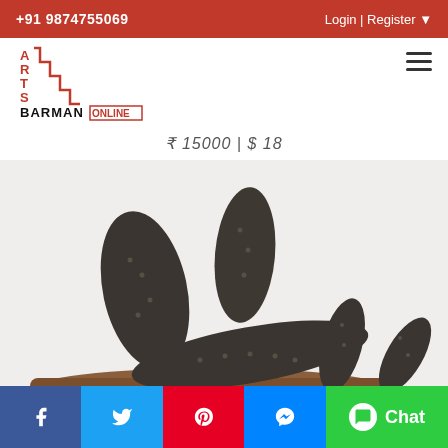+91 9874755069   Login | Register
[Figure (logo): Arts Barman Online logo with staircase design in red and black]
₹ 15000 | $ 18
[Figure (photo): Sculpture artwork featuring dark oval stone-like forms with nail details arranged on a wooden base]
Facebook | Twitter | Pinterest | Messenger | Chat